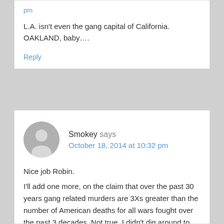pm
L.A. isn't even the gang capital of California. OAKLAND, baby….
Reply
Smokey says
October 18, 2014 at 10:32 pm
Nice job Robin.
I'll add one more, on the claim that over the past 30 years gang related murders are 3Xs greater than the number of American deaths for all wars fought over the past 3 decades. Not true. I didn't dig around to